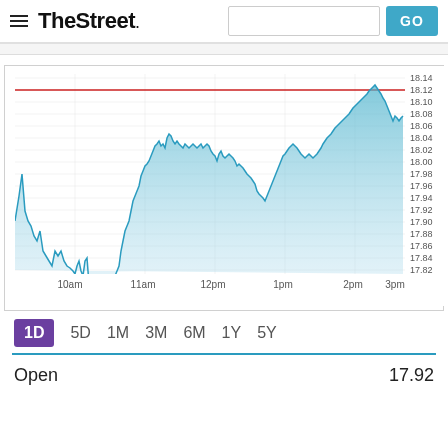TheStreet
[Figure (area-chart): Intraday area chart showing stock price from ~10am to 3pm, ranging from ~17.82 to 18.14, with a red horizontal reference line at ~18.12]
1D 5D 1M 3M 6M 1Y 5Y
Open 17.92